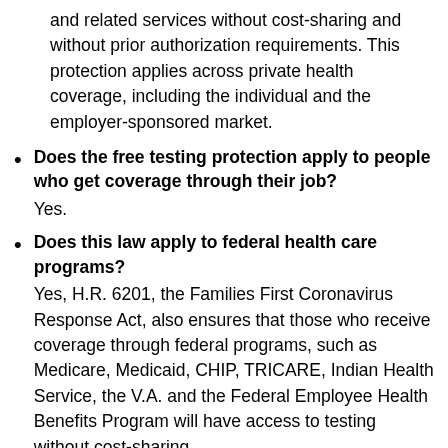and related services without cost-sharing and without prior authorization requirements. This protection applies across private health coverage, including the individual and the employer-sponsored market.
Does the free testing protection apply to people who get coverage through their job? Yes.
Does this law apply to federal health care programs? Yes, H.R. 6201, the Families First Coronavirus Response Act, also ensures that those who receive coverage through federal programs, such as Medicare, Medicaid, CHIP, TRICARE, Indian Health Service, the V.A. and the Federal Employee Health Benefits Program will have access to testing without cost-sharing.